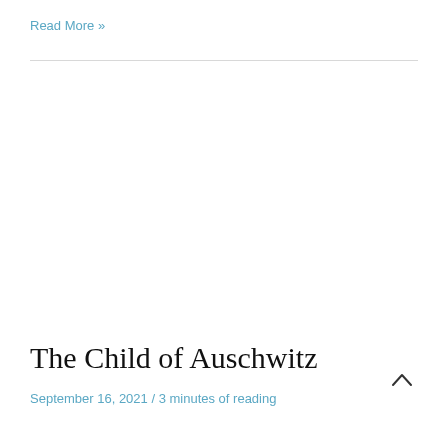Read More »
The Child of Auschwitz
September 16, 2021 / 3 minutes of reading